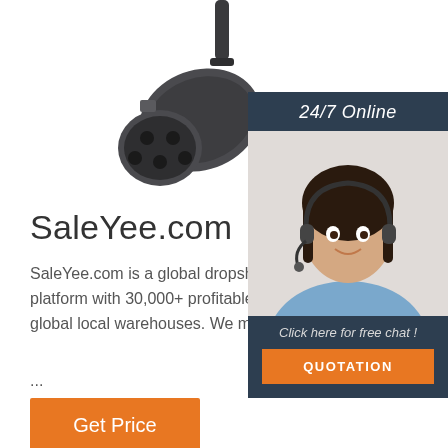[Figure (photo): Product photo of a multi-pin electrical connector/plug attached to a cable, shown at an angle]
[Figure (photo): Customer service representative (woman with headset) with 24/7 Online header, Click here for free chat text, and orange QUOTATION button]
SaleYee.com
SaleYee.com is a global dropshipping and wholesale platform with 30,000+ profitable and free & fast delivery from global local warehouses. We make it easier for everyo...
...
Get Price